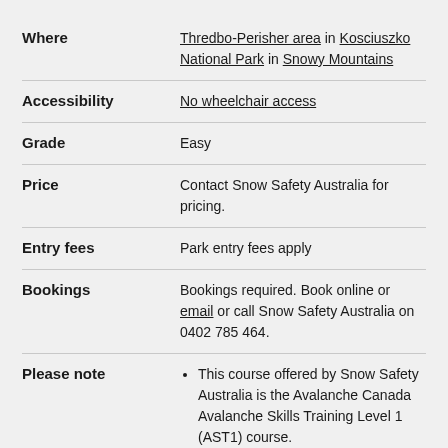| Field | Value |
| --- | --- |
| Where | Thredbo-Perisher area in Kosciuszko National Park in Snowy Mountains |
| Accessibility | No wheelchair access |
| Grade | Easy |
| Price | Contact Snow Safety Australia for pricing. |
| Entry fees | Park entry fees apply |
| Bookings | Bookings required. Book online or email or call Snow Safety Australia on 0402 785 464. |
| Please note | • This course offered by Snow Safety Australia is the Avalanche Canada Avalanche Skills Training Level 1 (AST1) course. • Additional courses also available from Snow Safety Australia. |